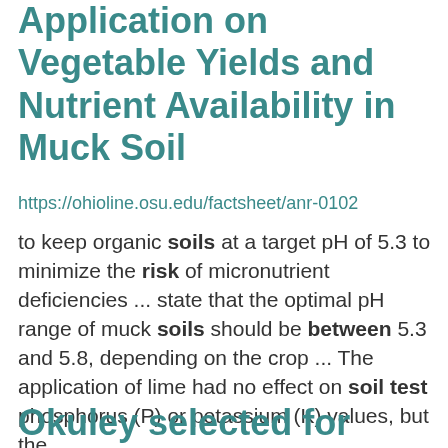Application on Vegetable Yields and Nutrient Availability in Muck Soil
https://ohioline.osu.edu/factsheet/anr-0102
to keep organic soils at a target pH of 5.3 to minimize the risk of micronutrient deficiencies ... state that the optimal pH range of muck soils should be between 5.3 and 5.8, depending on the crop ... The application of lime had no effect on soil test phosphorus (P) or potassium (K) values, but the ...
Okuley selected for scholarship,